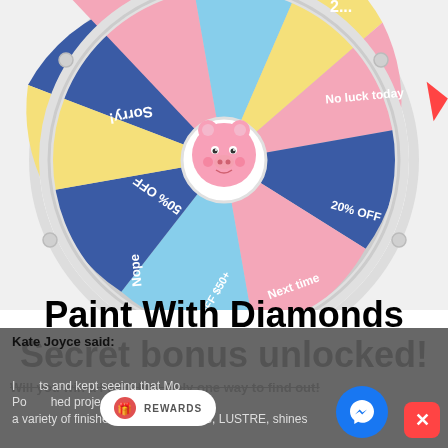[Figure (illustration): A prize/lucky spin wheel with colored segments: blue 'Sorry!', pink '50% OFF', yellow 'Nope', light blue '$20 OFF $50+', blue 'Next time', pink '20% OFF', yellow 'No luck today', and partial segments. A cute pink pig mascot in the center hub. The wheel is partially visible, cropped at edges.]
Paint With Diamonds Secret bonus unlocked!
Will you win a FREE kit? Only one way to find out!
Kate Joyce said:
I ... ts and kept seeing that M... Po ... hed project. Mod Podge com... a variety of finishes. I use the GLOSS, LUSTRE, shines...
REWARDS